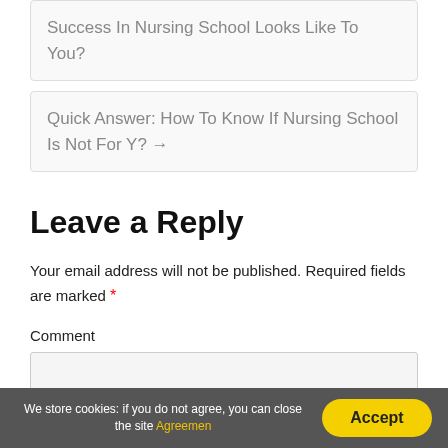Success In Nursing School Looks Like To You?
Quick Answer: How To Know If Nursing School Is Not For Y? →
Leave a Reply
Your email address will not be published. Required fields are marked *
Comment
We store cookies: if you do not agree, you can close the site Agreemen